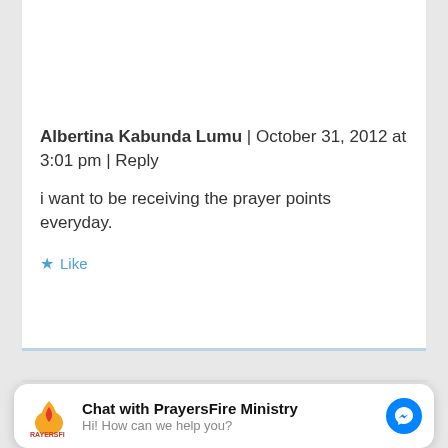[Figure (illustration): Gray placeholder avatar silhouette icon on a light gray rectangular background]
Albertina Kabunda Lumu | October 31, 2012 at 3:01 pm | Reply
i want to be receiving the prayer points everyday.
★ Like
[Figure (screenshot): Chat widget bar at the bottom: PrayersFire Ministry logo, 'Chat with PrayersFire Ministry' title, 'Hi! How can we help you?' subtitle, Facebook Messenger blue circle icon]